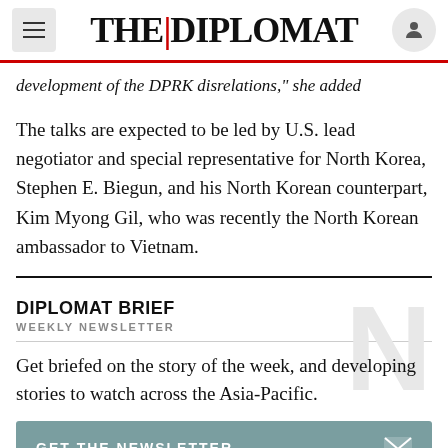THE DIPLOMAT
development of the DPRK disrelations, she added
The talks are expected to be led by U.S. lead negotiator and special representative for North Korea, Stephen E. Biegun, and his North Korean counterpart, Kim Myong Gil, who was recently the North Korean ambassador to Vietnam.
DIPLOMAT BRIEF
WEEKLY NEWSLETTER
Get briefed on the story of the week, and developing stories to watch across the Asia-Pacific.
GET THE NEWSLETTER
The talks will be the first bilateral between...